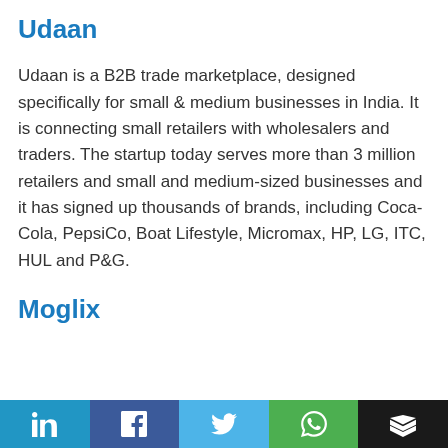Udaan
Udaan is a B2B trade marketplace, designed specifically for small & medium businesses in India. It is connecting small retailers with wholesalers and traders. The startup today serves more than 3 million retailers and small and medium-sized businesses and it has signed up thousands of brands, including Coca-Cola, PepsiCo, Boat Lifestyle, Micromax, HP, LG, ITC, HUL and P&G.
Moglix
in f [twitter] [whatsapp] [buffer]